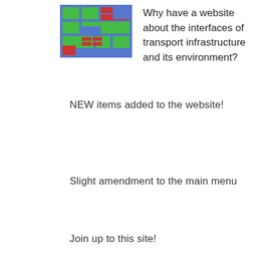[Figure (illustration): Small pixel-art style image showing blue, green, and red colored blocks arranged in a grid, representing transport infrastructure interfaces]
Why have a website about the interfaces of transport infrastructure and its environment?
NEW items added to the website!
Slight amendment to the main menu
Join up to this site!